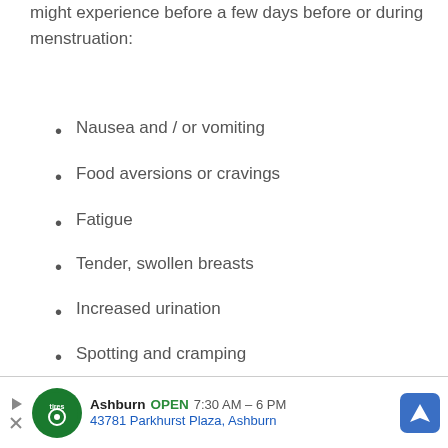might experience before a few days before or during menstruation:
Nausea and / or vomiting
Food aversions or cravings
Fatigue
Tender, swollen breasts
Increased urination
Spotting and cramping
2. Are you taking a drug that might affect your pregnancy test results?
[Figure (other): Advertisement banner for Tires auto shop in Ashburn, OPEN 7:30AM-6PM, 43781 Parkhurst Plaza, Ashburn]